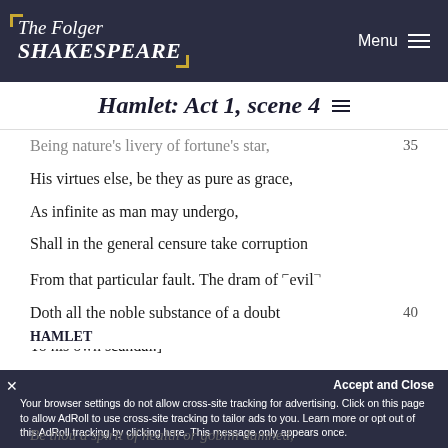The Folger SHAKESPEARE
Hamlet: Act 1, scene 4
Being nature's livery of fortune's star,  35
His virtues else, be they as pure as grace,
As infinite as man may undergo,
Shall in the general censure take corruption
From that particular fault. The dram of ⌐evil¬
Doth all the noble substance of a doubt  40
To his own scandal.]
Enter Ghost.
HORATIO    Look, my lord, it comes.
HAMLET
Be thou a spirit of health or goblin damned,